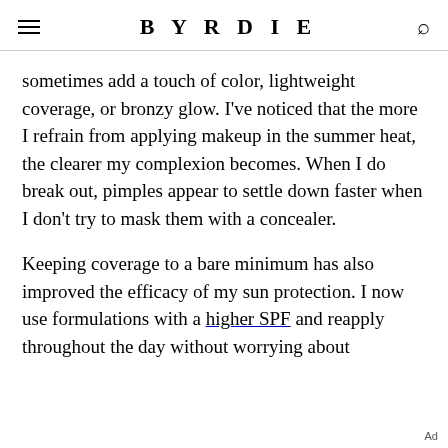BYRDIE
sometimes add a touch of color, lightweight coverage, or bronzy glow. I've noticed that the more I refrain from applying makeup in the summer heat, the clearer my complexion becomes. When I do break out, pimples appear to settle down faster when I don't try to mask them with a concealer.
Keeping coverage to a bare minimum has also improved the efficacy of my sun protection. I now use formulations with a higher SPF and reapply throughout the day without worrying about